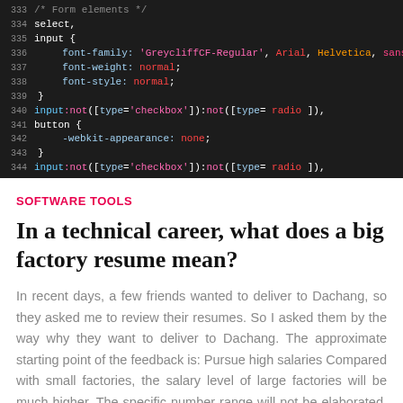[Figure (screenshot): Dark-themed code editor screenshot showing CSS code with line numbers 333-348. Code includes CSS selectors and properties such as select, input with font-family 'GreycliffCF-Regular' Arial Helvetica, font-weight normal, font-style normal, input:not([type='checkbox']):not([type='radio']), button with -webkit-appearance none, textarea, select with outline none, font inherit, width 100%.]
SOFTWARE TOOLS
In a technical career, what does a big factory resume mean?
In recent days, a few friends wanted to deliver to Dachang, so they asked me to review their resumes. So I asked them by the way why they want to deliver to Dachang. The approximate starting point of the feedback is: Pursue high salaries Compared with small factories, the salary level of large factories will be much higher. The specific number range will not be elaborated, but the big factory will be more generous as a whole. As long as you can pass the